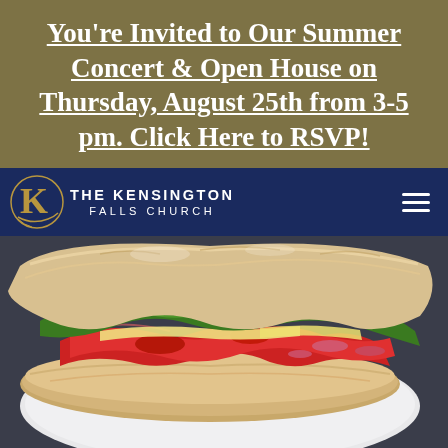You're Invited to Our Summer Concert & Open House on Thursday, August 25th from 3-5 pm. Click Here to RSVP!
[Figure (logo): The Kensington Falls Church navigation bar with stylized K logo]
[Figure (photo): Close-up photo of a ciabatta sandwich on a white plate, filled with red peppers, arugula, cheese and other toppings]
DINING UPDATES